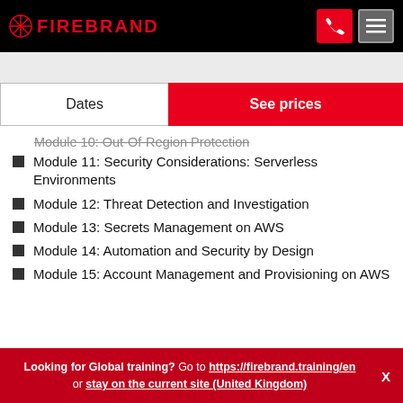FIREBRAND
Module 10: Out-Of-Region Protection
Module 11: Security Considerations: Serverless Environments
Module 12: Threat Detection and Investigation
Module 13: Secrets Management on AWS
Module 14: Automation and Security by Design
Module 15: Account Management and Provisioning on AWS
Looking for Global training? Go to https://firebrand.training/en or stay on the current site (United Kingdom)  X